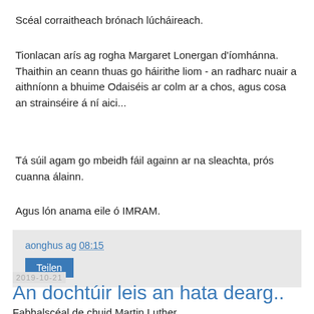Scéal corraitheach brónach lúcháireach.
Tionlacan arís ag rogha Margaret Lonergan d'íomhánna. Thaithin an ceann thuas go háirithe liom - an radharc nuair a aithníonn a bhuime Odaiséis ar colm ar a chos, agus cosa an strainséire á ní aici...
Tá súil agam go mbeidh fáil againn ar na sleachta, prós cuanna álainn.
Agus lón anama eile ó IMRAM.
aonghus ag 08:15
Teilen
2019-10-21
An dochtúir leis an hata dearg..
Fabhalscéal de chuid Martin Luther